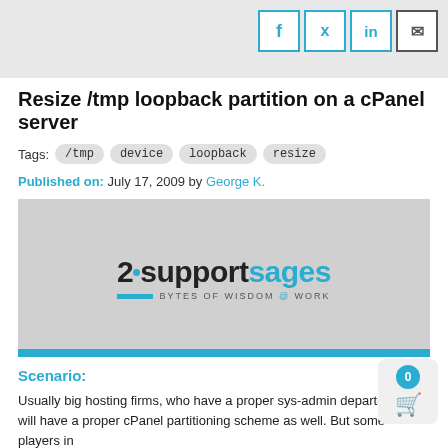Social icons: f, twitter, in, email
Resize /tmp loopback partition on a cPanel server
Tags: /tmp  device  loopback  resize
Published on: July 17, 2009 by George K.
[Figure (logo): 2supportsages logo with tagline 'Bytes of Wisdom @ Work' on gray background with blue bar at bottom]
Scenario:
Usually big hosting firms, who have a proper sys-admin department, will have a proper cPanel partitioning scheme as well. But some players in